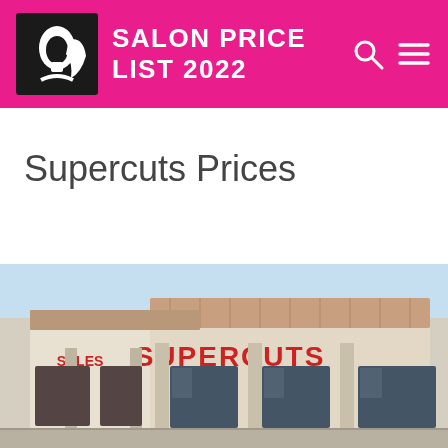SALON PRICE LIST 2022
Supercuts Prices
[Figure (photo): Exterior photo of a Supercuts salon storefront in a strip mall with tan/beige walls and red tile roof, showing the SUPERCUTS sign above the entrance windows]